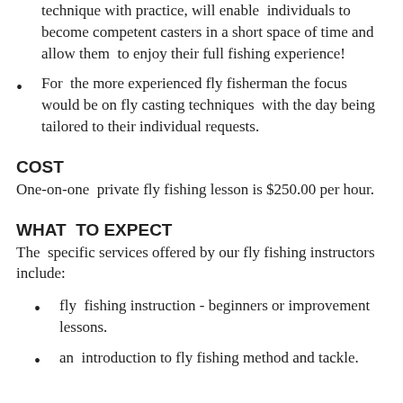technique with practice, will enable individuals to become competent casters in a short space of time and allow them to enjoy their full fishing experience!
For the more experienced fly fisherman the focus would be on fly casting techniques with the day being tailored to their individual requests.
COST
One-on-one private fly fishing lesson is $250.00 per hour.
WHAT TO EXPECT
The specific services offered by our fly fishing instructors include:
fly fishing instruction - beginners or improvement lessons.
an introduction to fly fishing method and tackle.